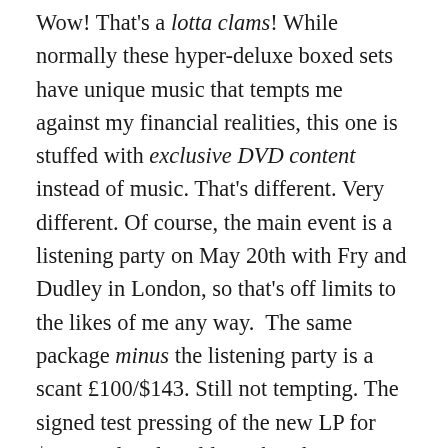Wow! That's a lotta clams! While normally these hyper-deluxe boxed sets have unique music that tempts me against my financial realities, this one is stuffed with exclusive DVD content instead of music. That's different. Very different. Of course, the main event is a listening party on May 20th with Fry and Dudley in London, so that's off limits to the likes of me any way.  The same package minus the listening party is a scant £100/$143. Still not tempting. The signed test pressing of the new LP for $110 is already sold out, but there is a signed CD, limited to 500 worldwide, for $29. That's more in line with my budget, but I would probably forego the autograph and pocket enough to buy a few other titles I want. I am concerned that a standard CD is not on the US Amazon store as a pre-order. Does this imply that there will only be 500 CDs [all signed] of this title in the world in the year